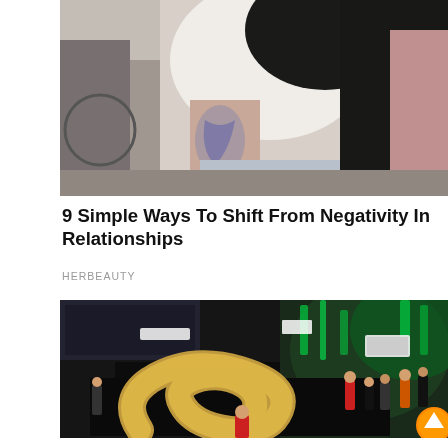[Figure (photo): Woman with tattoo on arm holding someone, outdoors setting with bicycle in background]
9 Simple Ways To Shift From Negativity In Relationships
HERBEAUTY
[Figure (photo): Large golden snake sculpture on a black platform at an event, with audience watching, green neon lighting in background, smithchan.com/monstersnake branding]
Imagine If These Mind-Boggling Animals Roamed The Planet Today